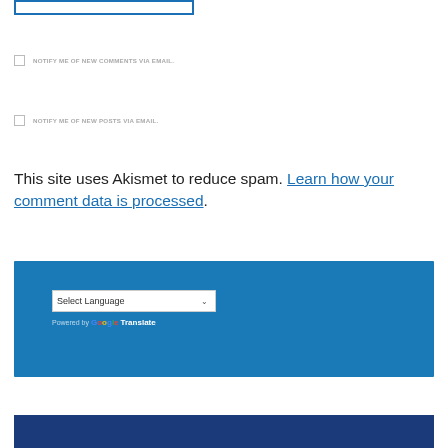[input box]
NOTIFY ME OF NEW COMMENTS VIA EMAIL.
NOTIFY ME OF NEW POSTS VIA EMAIL.
This site uses Akismet to reduce spam. Learn how your comment data is processed.
[Figure (screenshot): Blue footer widget with Google Translate dropdown selector showing 'Select Language' and 'Powered by Google Translate' text]
[Figure (screenshot): Dark blue footer bar at bottom]